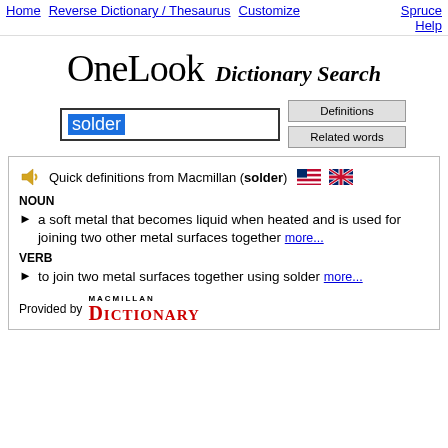Home  Reverse Dictionary / Thesaurus  Customize  Spruce  Help
[Figure (logo): OneLook Dictionary Search logo with large serif OneLook text and italic bold Dictionary Search text]
solder [search input] Definitions  Related words
Quick definitions from Macmillan (solder)
NOUN
a soft metal that becomes liquid when heated and is used for joining two other metal surfaces together more...
VERB
to join two metal surfaces together using solder more...
Provided by MACMILLAN DICTIONARY